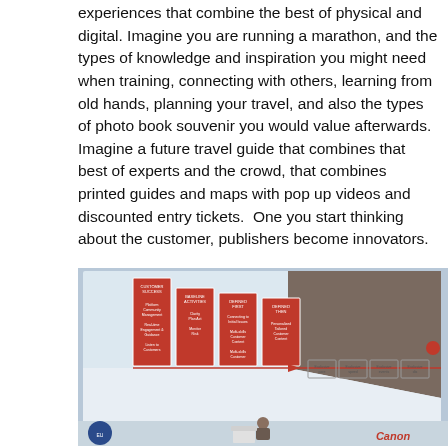experiences that combine the best of physical and digital. Imagine you are running a marathon, and the types of knowledge and inspiration you might need when training, connecting with others, learning from old hands, planning your travel, and also the types of photo book souvenir you would value afterwards. Imagine a future travel guide that combines that best of experts and the crowd, that combines printed guides and maps with pop up videos and discounted entry tickets.  One you start thinking about the customer, publishers become innovators.
[Figure (photo): Photograph of a presenter standing at a podium in front of a projection screen showing a slide with red boxes/cards in a funnel-like diagram and a Canon logo in the bottom right corner.]